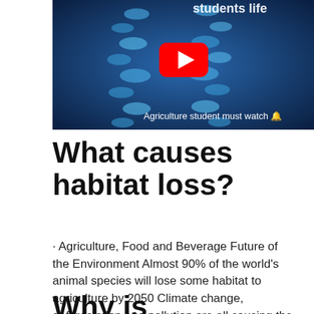[Figure (screenshot): YouTube video thumbnail showing a DNA double helix structure on a blue science background with a red YouTube play button in the center. Text reads 'Agriculture student must watch' at the bottom and partial title 'students life' at the top.]
What causes habitat loss?
· Agriculture, Food and Beverage Future of the Environment Almost 90% of the world's animal species will lose some habitat to agriculture by 2050 Climate change, deforestation and pollution are all causing the destruction of …
Why is agriculture the